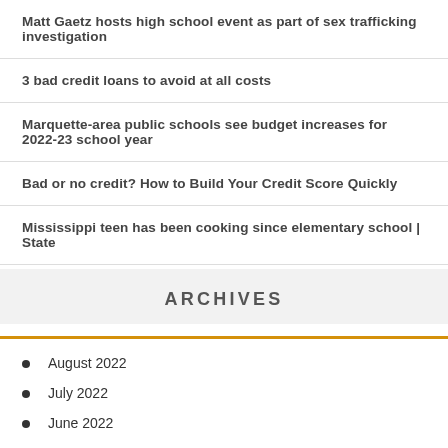Matt Gaetz hosts high school event as part of sex trafficking investigation
3 bad credit loans to avoid at all costs
Marquette-area public schools see budget increases for 2022-23 school year
Bad or no credit? How to Build Your Credit Score Quickly
Mississippi teen has been cooking since elementary school | State
ARCHIVES
August 2022
July 2022
June 2022
May 2022
April 2022
March 2022
February 2022